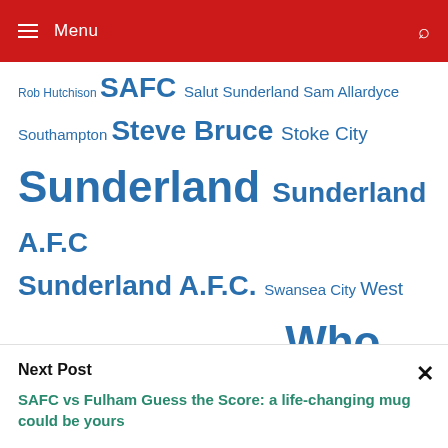Menu
Rob Hutchison SAFC Salut Sunderland Sam Allardyce Southampton Steve Bruce Stoke City Sunderland Sunderland A.F.C Sunderland A.F.C. Swansea City West Bromwich Albion West Ham United Who Are You? Wolverhampton Wanderers
Next Post
SAFC vs Fulham Guess the Score: a life-changing mug could be yours